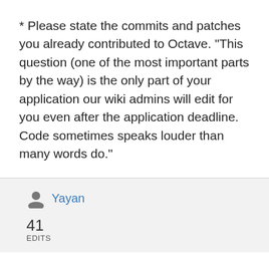* Please state the commits and patches you already contributed to Octave. "This question (one of the most important parts by the way) is the only part of your application our wiki admins will edit for you even after the application deadline. Code sometimes speaks louder than many words do."
Yayan
41
EDITS